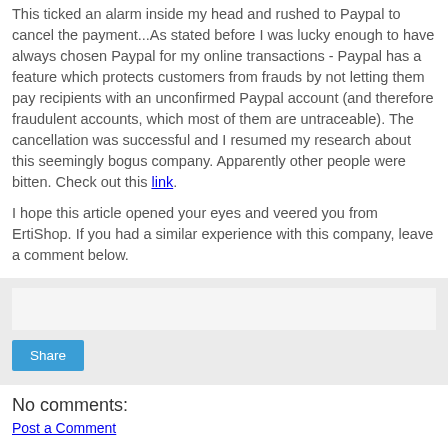This ticked an alarm inside my head and rushed to Paypal to cancel the payment...As stated before I was lucky enough to have always chosen Paypal for my online transactions - Paypal has a feature which protects customers from frauds by not letting them pay recipients with an unconfirmed Paypal account (and therefore fraudulent accounts, which most of them are untraceable). The cancellation was successful and I resumed my research about this seemingly bogus company. Apparently other people were bitten. Check out this link.
I hope this article opened your eyes and veered you from ErtiShop. If you had a similar experience with this company, leave a comment below.
[Figure (other): Share widget box with a Share button]
No comments:
Post a Comment